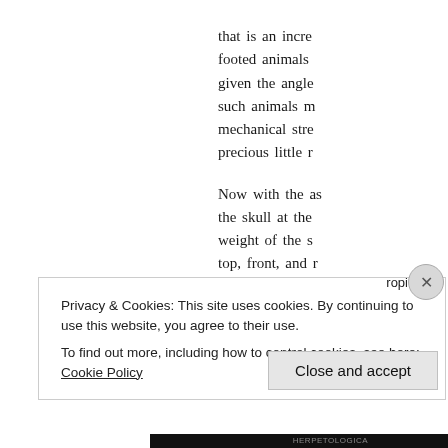that is an incre footed animals given the angle such animals m mechanical stre precious little r
Now with the as the skull at the weight of the s top, front, and r in which a much
Privacy & Cookies: This site uses cookies. By continuing to use this website, you agree to their use.
To find out more, including how to control cookies, see here: Cookie Policy
Close and accept